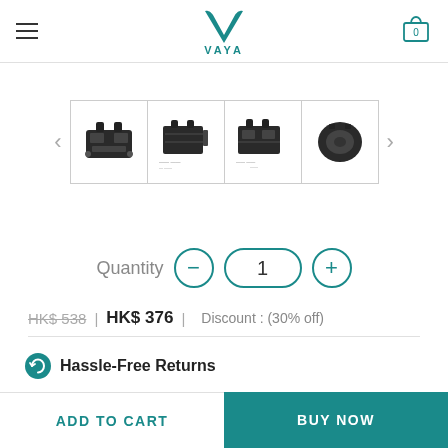[Figure (logo): VAYA brand logo with teal V-shape leaf icon and VAYA text in teal]
[Figure (photo): Product thumbnail gallery showing 4 images of a black device/mount from different angles and technical drawings]
Quantity  −  1  +
HK$ 538 | HK$ 376 | Discount : (30% off)
Hassle-Free Returns
ADD TO CART
BUY NOW